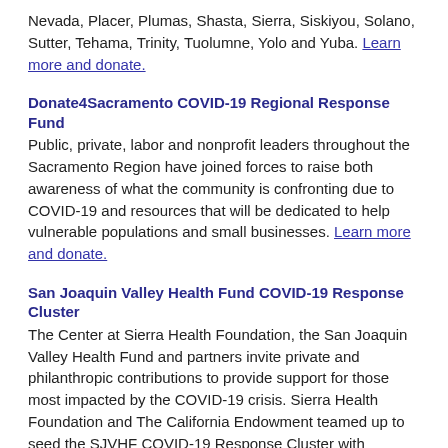Nevada, Placer, Plumas, Shasta, Sierra, Siskiyou, Solano, Sutter, Tehama, Trinity, Tuolumne, Yolo and Yuba. Learn more and donate.
Donate4Sacramento COVID-19 Regional Response Fund
Public, private, labor and nonprofit leaders throughout the Sacramento Region have joined forces to raise both awareness of what the community is confronting due to COVID-19 and resources that will be dedicated to help vulnerable populations and small businesses. Learn more and donate.
San Joaquin Valley Health Fund COVID-19 Response Cluster
The Center at Sierra Health Foundation, the San Joaquin Valley Health Fund and partners invite private and philanthropic contributions to provide support for those most impacted by the COVID-19 crisis. Sierra Health Foundation and The California Endowment teamed up to seed the SJVHF COVID-19 Response Cluster with contributions of nearly $500,000. Learn more and donate.
COVID-19 resources
We're posting web links, funding opportunities, articles and informational materials, including prevention flyers in multiple